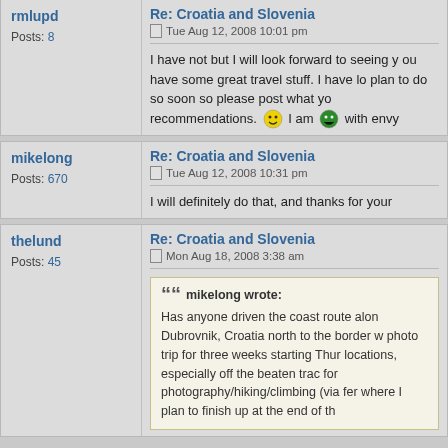rmlupd — Posts: 8
Re: Croatia and Slovenia
Tue Aug 12, 2008 10:01 pm
I have not but I will look forward to seeing y... you have some great travel stuff. I have lo... plan to do so soon so please post what yo... recommendations. I am with envy
mikelong — Posts: 670
Re: Croatia and Slovenia
Tue Aug 12, 2008 10:31 pm
I will definitely do that, and thanks for your...
thelund — Posts: 45
Re: Croatia and Slovenia
Mon Aug 18, 2008 3:38 am
mikelong wrote: Has anyone driven the coast route alon... Dubrovnik, Croatia north to the border w... photo trip for three weeks starting Thur... locations, especially off the beaten trac... for photography/hiking/climbing (via fer... where I plan to finish up at the end of th...